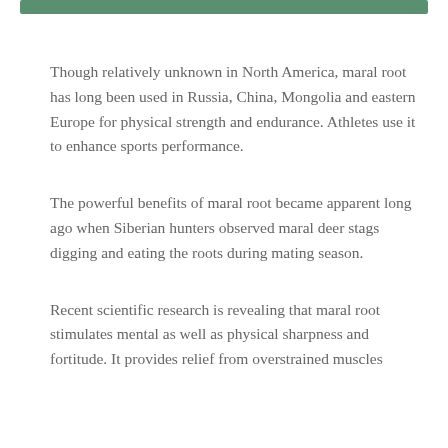Though relatively unknown in North America, maral root has long been used in Russia, China, Mongolia and eastern Europe for physical strength and endurance. Athletes use it to enhance sports performance.
The powerful benefits of maral root became apparent long ago when Siberian hunters observed maral deer stags digging and eating the roots during mating season.
Recent scientific research is revealing that maral root stimulates mental as well as physical sharpness and fortitude. It provides relief from overstrained muscles